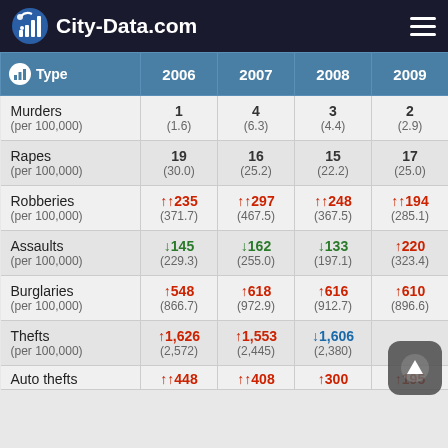City-Data.com
| Type | 2006 | 2007 | 2008 | 2009 |
| --- | --- | --- | --- | --- |
| Murders (per 100,000) | 1 (1.6) | 4 (6.3) | 3 (4.4) | 2 (2.9) |
| Rapes (per 100,000) | 19 (30.0) | 16 (25.2) | 15 (22.2) | 17 (25.0) |
| Robberies (per 100,000) | ↑↑235 (371.7) | ↑↑297 (467.5) | ↑↑248 (367.5) | ↑↑194 (285.1) |
| Assaults (per 100,000) | ↓145 (229.3) | ↓162 (255.0) | ↓133 (197.1) | ↑220 (323.4) |
| Burglaries (per 100,000) | ↑548 (866.7) | ↑618 (972.9) | ↑616 (912.7) | ↑610 (896.6) |
| Thefts (per 100,000) | ↑1,626 (2,572) | ↑1,553 (2,445) | ↓1,606 (2,380) |  |
| Auto thefts | ↑↑448 | ↑↑408 | ↑300 | ↑195 |